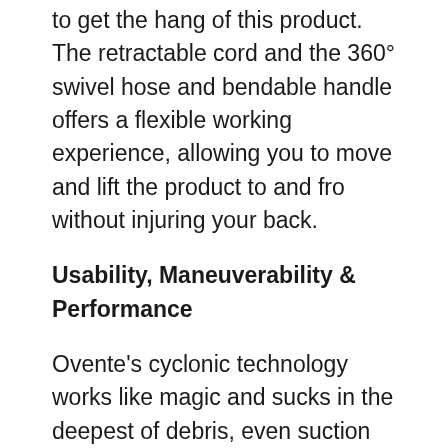to get the hang of this product. The retractable cord and the 360° swivel hose and bendable handle offers a flexible working experience, allowing you to move and lift the product to and fro without injuring your back.
Usability, Maneuverability & Performance
Ovente's cyclonic technology works like magic and sucks in the deepest of debris, even suction control saves up on energy, isn't that great? The dust compartment is transparent, so you can easily gauge when it's full and needs to bedrained. Certified with HEPA filtration system, it removes 99.97 percent of allergens and dust particles for a